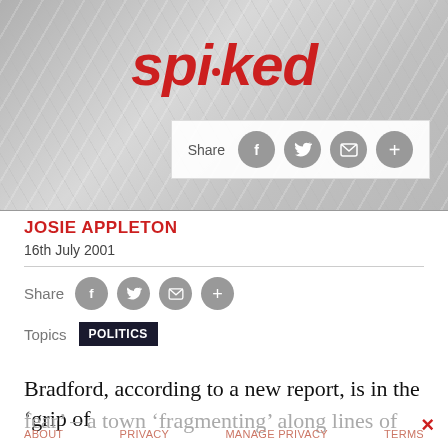[Figure (logo): Spiked logo in red italic bold text with a small red dot between 'spi' and 'ked', on a grey crumpled paper background]
[Figure (infographic): Share bar with grey social media buttons for Facebook, Twitter, email, and plus, on white background]
JOSIE APPLETON
16th July 2001
Share (social buttons: f, Twitter bird, envelope, +)
Topics  POLITICS
Bradford, according to a new report, is in the ‘grip of fear’ – a town ‘fragmenting’ along lines of race,
ABOUT   PRIVACY   MANAGE PRIVACY   TERMS